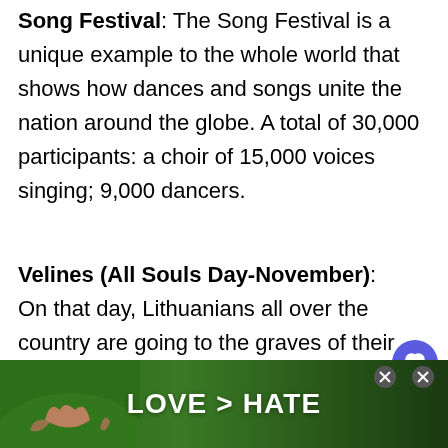Song Festival: The Song Festival is a unique example to the whole world that shows how dances and songs unite the nation around the globe. A total of 30,000 participants: a choir of 15,000 voices singing; 9,000 dancers.
Velines (All Souls Day-November): On that day, Lithuanians all over the country are going to the graves of their ancestors, their friends, and other people they admire.
Klaipėda Sea Festival: A parade of maritime
[Figure (screenshot): Bottom advertisement banner showing 'LOVE > HATE' text in white on a dark green background with hands forming a heart shape on the left, and close buttons on the right.]